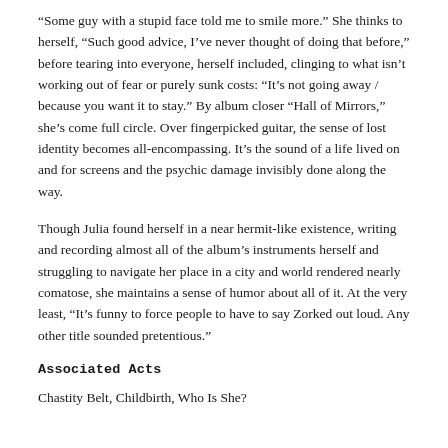“Some guy with a stupid face told me to smile more.” She thinks to herself, “Such good advice, I’ve never thought of doing that before,” before tearing into everyone, herself included, clinging to what isn’t working out of fear or purely sunk costs: “It’s not going away / because you want it to stay.” By album closer “Hall of Mirrors,” she’s come full circle. Over fingerpicked guitar, the sense of lost identity becomes all-encompassing. It’s the sound of a life lived on and for screens and the psychic damage invisibly done along the way.
Though Julia found herself in a near hermit-like existence, writing and recording almost all of the album’s instruments herself and struggling to navigate her place in a city and world rendered nearly comatose, she maintains a sense of humor about all of it. At the very least, “It’s funny to force people to have to say Zorked out loud. Any other title sounded pretentious.”
Associated Acts
Chastity Belt, Childbirth, Who Is She?